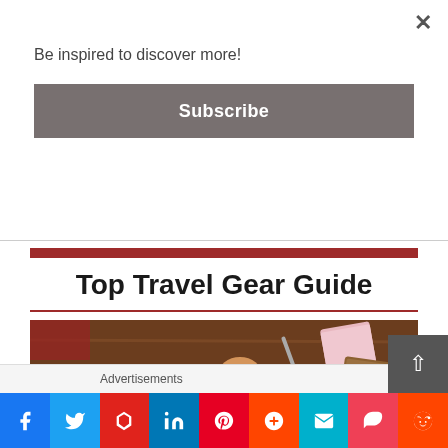×
Be inspired to discover more!
Subscribe
Top Travel Gear Guide
[Figure (photo): Overhead view of a person holding a coffee cup over a travel map on a wooden table, with a camera, notebook, pen, phone, and small succulent plant visible]
Advertisements
[Figure (screenshot): Social share buttons row: Facebook, Twitter, Flipboard, LinkedIn, Pinterest, Mix, Email, Pocket, Reddit]